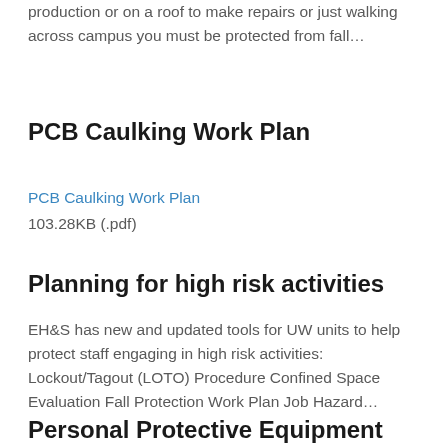production or on a roof to make repairs or just walking across campus you must be protected from fall…
PCB Caulking Work Plan
PCB Caulking Work Plan
103.28KB (.pdf)
Planning for high risk activities
EH&S has new and updated tools for UW units to help protect staff engaging in high risk activities: Lockout/Tagout (LOTO) Procedure Confined Space Evaluation Fall Protection Work Plan Job Hazard…
Personal Protective Equipment (PPE)